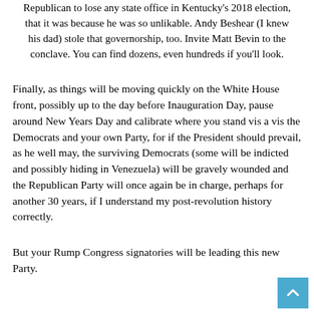Republican to lose any state office in Kentucky's 2018 election, that it was because he was so unlikable. Andy Beshear (I knew his dad) stole that governorship, too. Invite Matt Bevin to the conclave. You can find dozens, even hundreds if you'll look.
Finally, as things will be moving quickly on the White House front, possibly up to the day before Inauguration Day, pause around New Years Day and calibrate where you stand vis a vis the Democrats and your own Party, for if the President should prevail, as he well may, the surviving Democrats (some will be indicted and possibly hiding in Venezuela) will be gravely wounded and the Republican Party will once again be in charge, perhaps for another 30 years, if I understand my post-revolution history correctly.
But your Rump Congress signatories will be leading this new Party.